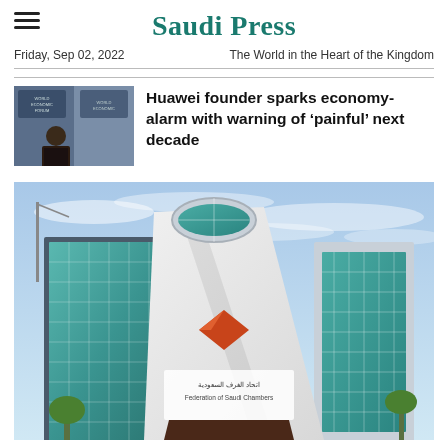Saudi Press
Friday, Sep 02, 2022   The World in the Heart of the Kingdom
Huawei founder sparks economy-alarm with warning of ‘painful’ next decade
[Figure (photo): Federation of Saudi Chambers building — a modern glass tower with teal/green reflective facade, arched circular feature at the top, Arabic text and English text 'Federation of Saudi Chambers' on building signage, set against a light blue sky with scattered clouds.]